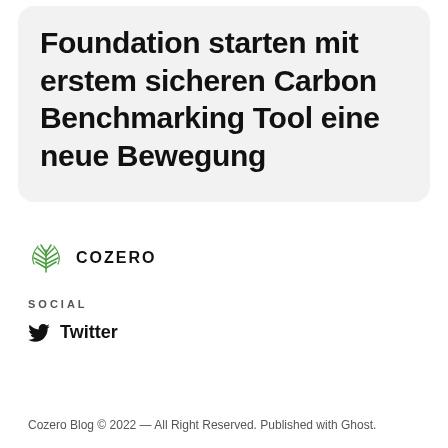Foundation starten mit erstem sicheren Carbon Benchmarking Tool eine neue Bewegung
[Figure (logo): Cozero logo: green leaf/feather icon with text COZERO]
SOCIAL
Twitter
Cozero Blog © 2022 — All Right Reserved. Published with Ghost.